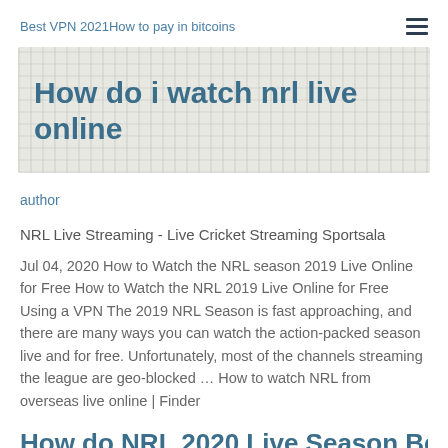Best VPN 2021How to pay in bitcoins
How do i watch nrl live online
author
NRL Live Streaming - Live Cricket Streaming Sportsala
Jul 04, 2020 How to Watch the NRL season 2019 Live Online for Free How to Watch the NRL 2019 Live Online for Free Using a VPN The 2019 NRL Season is fast approaching, and there are many ways you can watch the action-packed season live and for free. Unfortunately, most of the channels streaming the league are geo-blocked … How to watch NRL from overseas live online | Finder
How do NRL 2020 Live Season Best How